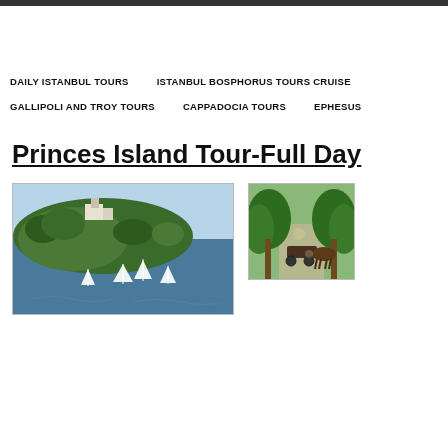DAILY ISTANBUL TOURS
ISTANBUL BOSPHORUS TOURS CRUISE
GALLIPOLI AND TROY TOURS
CAPPADOCIA TOURS
EPHESUS
Princes Island Tour-Full Day
[Figure (photo): Aerial or elevated view of a green island with sailboats moored in a bay, buildings visible on the hilltop, blue water]
[Figure (photo): Tree-lined path with a horse-drawn carriage, lush green trees overhead]